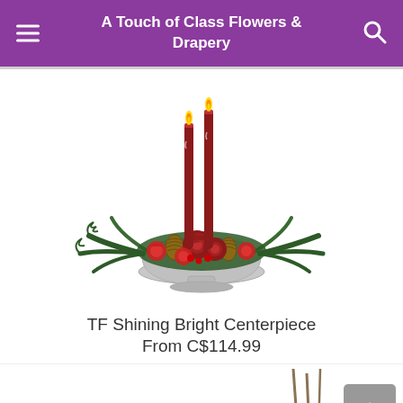A Touch of Class Flowers & Drapery
[Figure (photo): TF Shining Bright Centerpiece floral arrangement: red roses, red carnations, pine cones, pine branches, and two tall dark red taper candles in a silver footed bowl]
TF Shining Bright Centerpiece
From C$114.99
[Figure (photo): Partial view of a white floral arrangement at bottom left]
[Figure (photo): Partial view of a floral arrangement at bottom right]